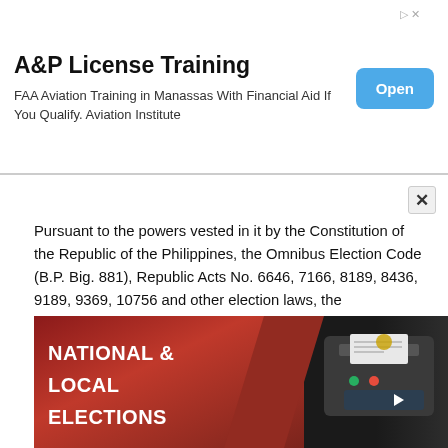[Figure (screenshot): Advertisement banner for A&P License Training. Title: 'A&P License Training'. Subtitle: 'FAA Aviation Training in Manassas With Financial Aid If You Qualify. Aviation Institute'. Blue 'Open' button on the right.]
Pursuant to the powers vested in it by the Constitution of the Republic of the Philippines, the Omnibus Election Code (B.P. Big. 881), Republic Acts No. 6646, 7166, 8189, 8436, 9189, 9369, 10756 and other election laws, the Commission on Elections (Commission) RESOLVED to prescribe the following calendar of activities and periods of prohibited acts in connection with the May 9, 2022 national and local elections:
[Figure (photo): Image showing a red background with white bold text reading 'NATIONAL & LOCAL ELECTIONS' and a voting machine / ballot scanner on the right side.]